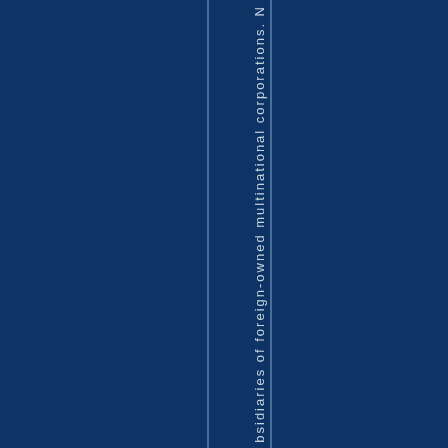bsidiaries of foreign-owned multinational corporations. N